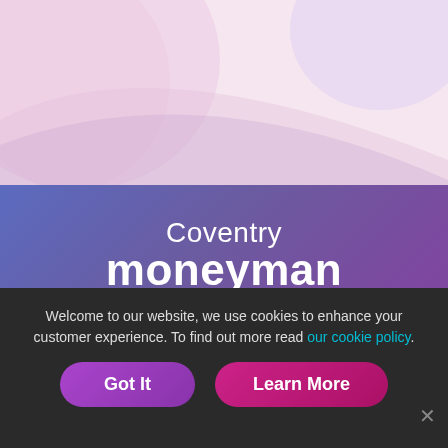[Figure (illustration): Decorative pink/purple curved background shape at the top of the page]
Coventry moneyman
024 7688 0948
Connect with us
[Figure (infographic): Five rounded square social media icons in white: Facebook, Twitter, Instagram, LinkedIn, YouTube]
Welcome to our website, we use cookies to enhance your customer experience. To find out more read our cookie policy.
Got It
Learn More